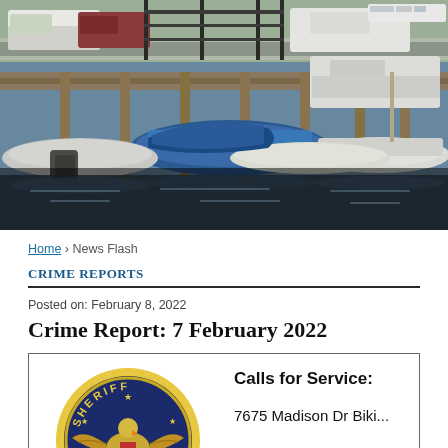[Figure (photo): Aerial/ground view of a marina with sailboats and motorboats docked at a pier, with vehicles (pickup trucks, cars) parked along a road in the background. Water reflections visible. Outdoor daytime photo.]
Home › News Flash
Crime Reports
Posted on: February 8, 2022
Crime Report: 7 February 2022
[Figure (logo): Sheriff badge/seal: circular badge with 'SHERIFF' text at top in yellow on dark blue background, featuring an eagle with spread wings, shield with stars and stripes, and olive branches, surrounded by a yellow/gold border ring.]
Calls for Service:

7675 Madison Dr Bikini...